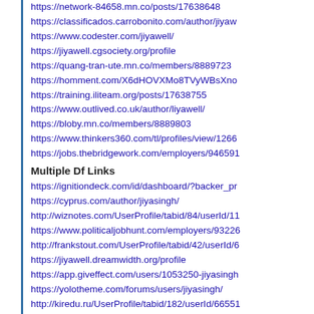https://network-84658.mn.co/posts/17638648
https://classificados.carrobonito.com/author/jiyawell
https://www.codester.com/jiyawell/
https://jiyawell.cgsociety.org/profile
https://quang-tran-ute.mn.co/members/8889723
https://homment.com/X6dHOVXMo8TVyWBsXno
https://training.iliteam.org/posts/17638755
https://www.outlived.co.uk/author/liyawell/
https://bloby.mn.co/members/8889803
https://www.thinkers360.com/tl/profiles/view/1266
https://jobs.thebridgework.com/employers/946591
Multiple Df Links
https://ignitiondeck.com/id/dashboard/?backer_profile
https://cyprus.com/author/jiyasingh/
http://wiznotes.com/UserProfile/tabid/84/userId/11
https://www.politicaljobhunt.com/employers/93226
http://frankstout.com/UserProfile/tabid/42/userId/6
https://jiyawell.dreamwidth.org/profile
https://app.giveffect.com/users/1053250-jiyasingh
https://yolotheme.com/forums/users/jiyasingh/
http://kiredu.ru/UserProfile/tabid/182/userId/66551
https://www.openlearning.com/u/jiyasingh-r03q33
http://frankstout.com/UserProfile/tabid/42/userId/6
http://maisoncarlos.com/UserProfile/tabid/42/user
https://findery.com/jiyasingh
https://puramtgo.com/users/jiyasingh